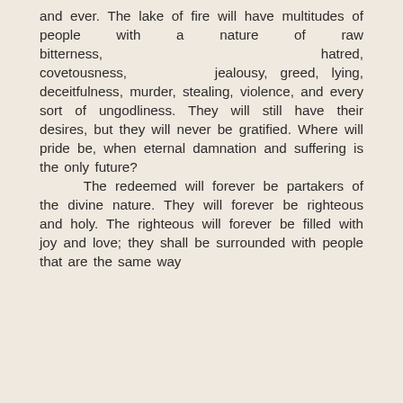and ever. The lake of fire will have multitudes of people with a nature of raw bitterness, hatred, covetousness, jealousy, greed, lying, deceitfulness, murder, stealing, violence, and every sort of ungodliness. They will still have their desires, but they will never be gratified. Where will pride be, when eternal damnation and suffering is the only future? The redeemed will forever be partakers of the divine nature. They will forever be righteous and holy. The righteous will forever be filled with joy and love; they shall be surrounded with people that are the same way